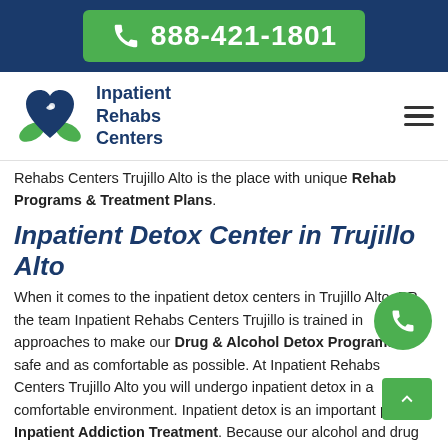888-421-1801
[Figure (logo): Inpatient Rehabs Centers logo with heart and hands in green and blue]
Rehabs Centers Trujillo Alto is the place with unique Rehab Programs & Treatment Plans.
Inpatient Detox Center in Trujillo Alto
When it comes to the inpatient detox centers in Trujillo Alto, PR, the team Inpatient Rehabs Centers Trujillo is trained in approaches to make our Drug & Alcohol Detox Programs as safe and as comfortable as possible. At Inpatient Rehabs Centers Trujillo Alto you will undergo inpatient detox in a comfortable environment. Inpatient detox is an important part of Inpatient Addiction Treatment. Because our alcohol and drug detox is